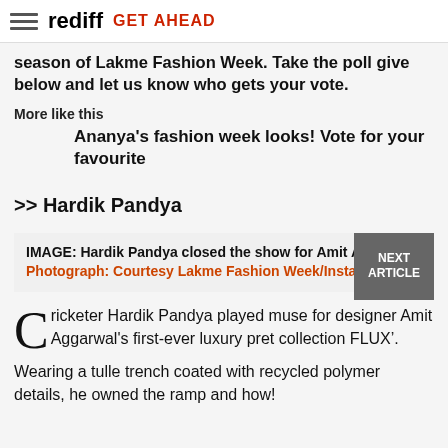rediff GET AHEAD
season of Lakme Fashion Week. Take the poll give below and let us know who gets your vote.
More like this
Ananya's fashion week looks! Vote for your favourite
>> Hardik Pandya
IMAGE: Hardik Pandya closed the show for Amit Aggarwal. Photograph: Courtesy Lakme Fashion Week/Instagram
Cricketer Hardik Pandya played muse for designer Amit Aggarwal's first-ever luxury pret collection FLUX&rsquo;.
Wearing a tulle trench coated with recycled polymer details, he owned the ramp and how!